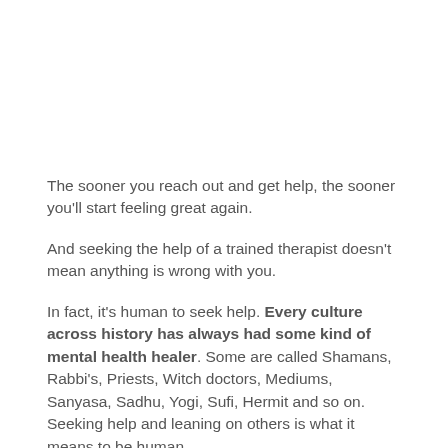The sooner you reach out and get help, the sooner you'll start feeling great again.
And seeking the help of a trained therapist doesn't mean anything is wrong with you.
In fact, it's human to seek help. Every culture across history has always had some kind of mental health healer. Some are called Shamans, Rabbi's, Priests, Witch doctors, Mediums, Sanyasa, Sadhu, Yogi, Sufi, Hermit and so on. Seeking help and leaning on others is what it means to be human.